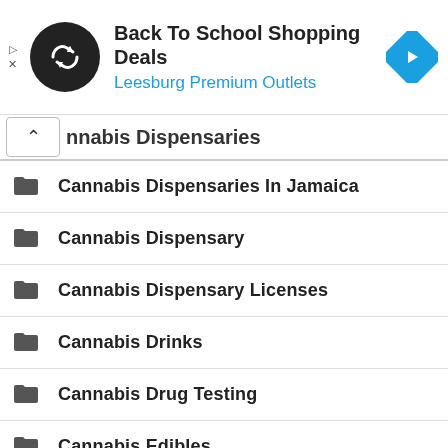[Figure (screenshot): Advertisement banner for Back To School Shopping Deals at Leesburg Premium Outlets, with circular logo, text, and blue diamond arrow icon]
Cannabis Dispensaries
Cannabis Dispensaries In Jamaica
Cannabis Dispensary
Cannabis Dispensary Licenses
Cannabis Drinks
Cannabis Drug Testing
Cannabis Edibles
Cannabis Ethics
Cannabis Event
Cannabis Eviction